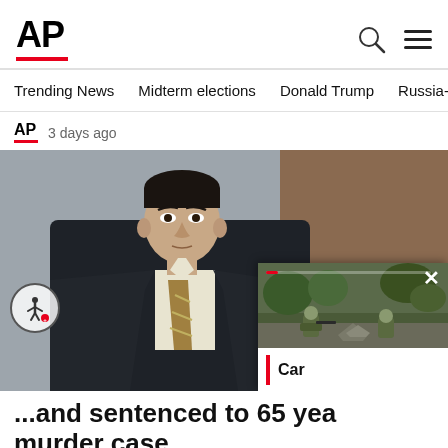AP
Trending News  Midterm elections  Donald Trump  Russia-Ukr
AP  3 days ago
[Figure (photo): Man in dark suit and yellow/striped tie standing in what appears to be a courtroom, with a secondary overlay video popup showing soldiers on a street, labeled 'Car']
...and sentenced to 65 yea murder case